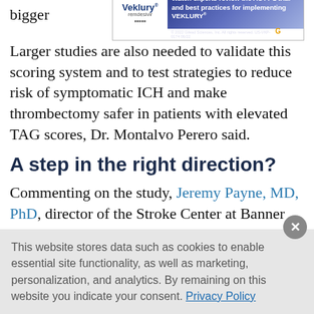bigger
[Figure (other): Veklury (remdesivir) advertisement banner by Gilead: 'Watch experts review the ACTT-1 trial and best practices for implementing VEKLURY®' © 2022 Gilead Sciences, Inc. All rights reserved. US-VKP-0174 06/22]
Larger studies are also needed to validate this scoring system and to test strategies to reduce risk of symptomatic ICH and make thrombectomy safer in patients with elevated TAG scores, Dr. Montalvo Perero said.
A step in the right direction?
Commenting on the study, Jeremy Payne, MD, PhD, director of the Stroke Center at Banner Health's University Medicine Neuroscience Institute in Phoenix, Arizona, noted the importance of
This website stores data such as cookies to enable essential site functionality, as well as marketing, personalization, and analytics. By remaining on this website you indicate your consent. Privacy Policy